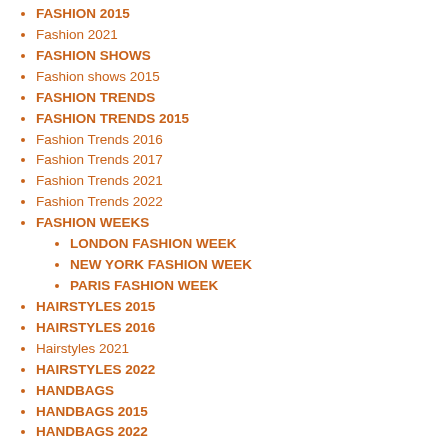FASHION 2015
Fashion 2021
FASHION SHOWS
Fashion shows 2015
FASHION TRENDS
FASHION TRENDS 2015
Fashion Trends 2016
Fashion Trends 2017
Fashion Trends 2021
Fashion Trends 2022
FASHION WEEKS
LONDON FASHION WEEK
NEW YORK FASHION WEEK
PARIS FASHION WEEK
HAIRSTYLES 2015
HAIRSTYLES 2016
Hairstyles 2021
HAIRSTYLES 2022
HANDBAGS
HANDBAGS 2015
HANDBAGS 2022
JEANS FASHION
JEANS FASHION 2015
JEWELLERY
Makeup Trends 2015